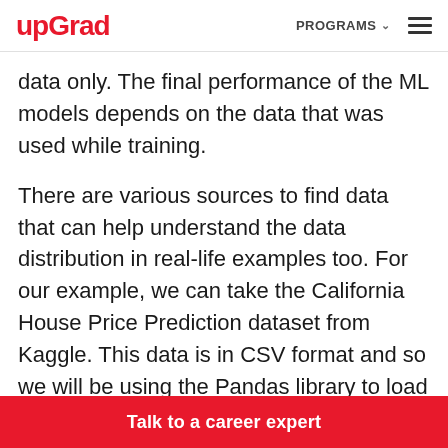upGrad   PROGRAMS ▾   ☰
data only. The final performance of the ML models depends on the data that was used while training.
There are various sources to find data that can help understand the data distribution in real-life examples too. For our example, we can take the California House Price Prediction dataset from Kaggle. This data is in CSV format and so we will be using the Pandas library to load the dataset.
Talk to a career expert